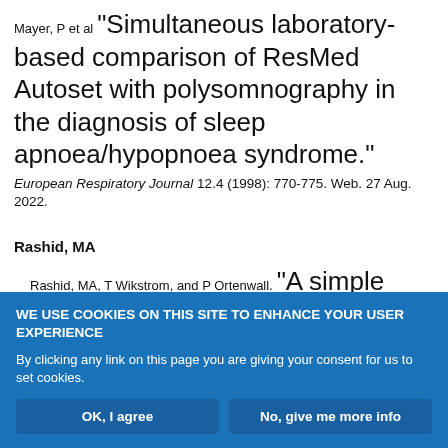Mayer, P et al "Simultaneous laboratory-based comparison of ResMed Autoset with polysomnography in the diagnosis of sleep apnoea/hypopnoea syndrome." European Respiratory Journal 12.4 (1998): 770-775. Web. 27 Aug. 2022.
Rashid, MA
Rashid, MA, T Wikstrom, and P Ortenwall. "A simple technique for anchoring chest tubes." European Respiratory Journal 12.4 (1998): 958-959. Web.
WE USE COOKIES ON THIS SITE TO ENHANCE YOUR USER EXPERIENCE
By clicking any link on this page you are giving your consent for us to set cookies.